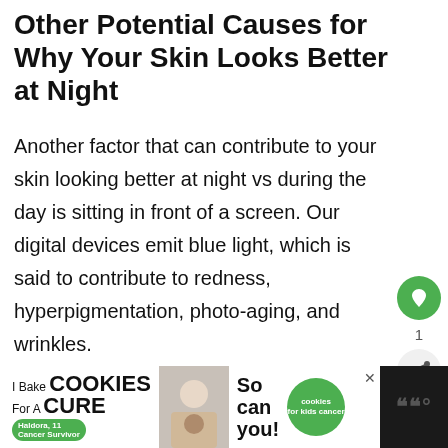Other Potential Causes for Why Your Skin Looks Better at Night
Another factor that can contribute to your skin looking better at night vs during the day is sitting in front of a screen. Our digital devices emit blue light, which is said to contribute to redness, hyperpigmentation, photo-aging, and wrinkles.
[Figure (infographic): Green heart/like button icon with count of 1, and a share icon below it. A progress bar beneath.]
[Figure (infographic): What's Next section with a small thumbnail image of a person and text 'Why Does My Skin Get so...']
[Figure (infographic): Bottom advertisement banner: 'I Bake COOKIES For A CURE' with Haldora, 11 Cancer Survivor badge, image of person with cookies, 'So can you!' text, and Cookies for Kids Cancer logo]